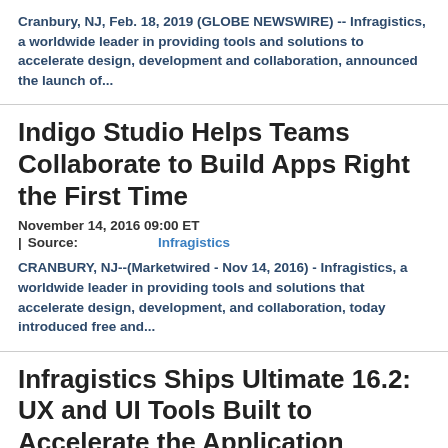Cranbury, NJ, Feb. 18, 2019 (GLOBE NEWSWIRE) -- Infragistics, a worldwide leader in providing tools and solutions to accelerate design, development and collaboration, announced the launch of...
Indigo Studio Helps Teams Collaborate to Build Apps Right the First Time
November 14, 2016 09:00 ET
| Source: Infragistics
CRANBURY, NJ--(Marketwired - Nov 14, 2016) - Infragistics, a worldwide leader in providing tools and solutions that accelerate design, development, and collaboration, today introduced free and...
Infragistics Ships Ultimate 16.2: UX and UI Tools Built to Accelerate the Application Design and Development...